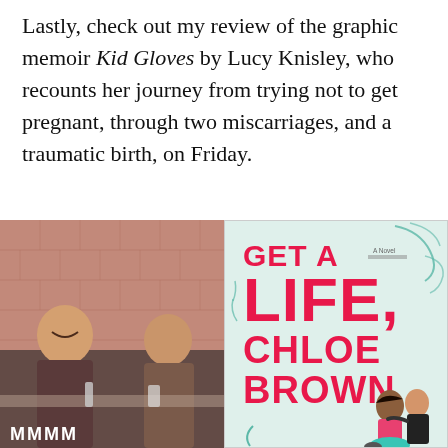Lastly, check out my review of the graphic memoir Kid Gloves by Lucy Knisley, who recounts her journey from trying not to get pregnant, through two miscarriages, and a traumatic birth, on Friday.
[Figure (photo): A still from a TV show or film showing two women sitting at a restaurant or diner table, with a brick-tiled wall behind them. One woman is smiling. The word 'MMMM' appears in white bold text at the bottom left.]
[Figure (illustration): Book cover for 'Get a Life, Chloe Brown' labeled 'A Novel', with large bold pink/red text on a light mint/teal background, with decorative swirls and an illustration of two people at the bottom right.]